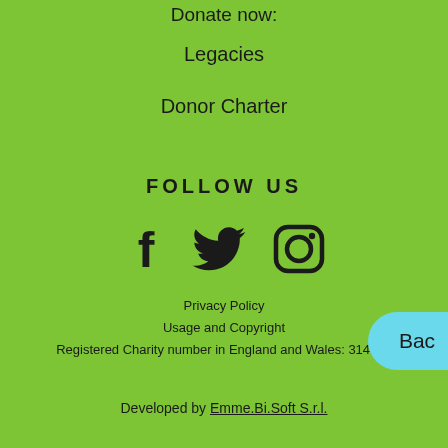Donate now:
Legacies
Donor Charter
FOLLOW US
[Figure (illustration): Three social media icons: Facebook (f), Twitter (bird), Instagram (camera)]
Privacy Policy
Usage and Copyright
Registered Charity number in England and Wales: 314176
Developed by Emme.Bi.Soft S.r.l.